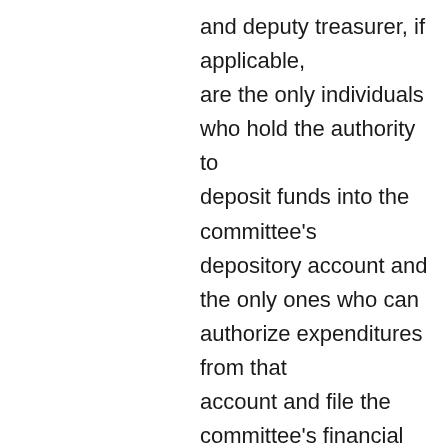and deputy treasurer, if applicable, are the only individuals who hold the authority to deposit funds into the committee's depository account and the only ones who can authorize expenditures from that account and file the committee's financial disclosure reports. Designating a deputy treasurer on the candidate committee registration statement (SEEC Form 1A)